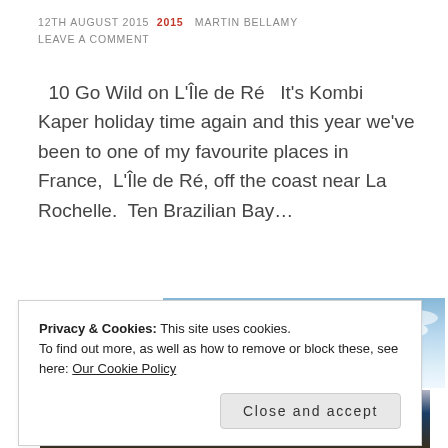12TH AUGUST 2015  2015  MARTIN BELLAMY
LEAVE A COMMENT
10 Go Wild on L'Île de Ré   It's Kombi Kaper holiday time again and this year we've been to one of my favourite places in France,  L'Île de Ré, off the coast near La Rochelle.  Ten Brazilian Bay…
[Figure (photo): Partial view of a photo showing trees and a blue sky with clouds, with a vehicle visible at the bottom edge]
Privacy & Cookies: This site uses cookies.
To find out more, as well as how to remove or block these, see here: Our Cookie Policy
Close and accept